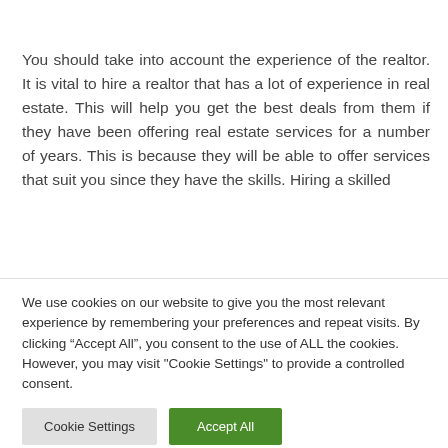You should take into account the experience of the realtor. It is vital to hire a realtor that has a lot of experience in real estate. This will help you get the best deals from them if they have been offering real estate services for a number of years. This is because they will be able to offer services that suit you since they have the skills. Hiring a skilled
We use cookies on our website to give you the most relevant experience by remembering your preferences and repeat visits. By clicking “Accept All”, you consent to the use of ALL the cookies. However, you may visit "Cookie Settings" to provide a controlled consent.